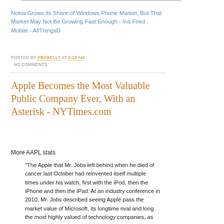Nokia Grows its Share of Windows Phone Market, But That Market May Not Be Growing Fast Enough - Ina Fried - Mobile - AllThingsD
POSTED BY PBOKELLY AT 6:19 AM
NO COMMENTS:
Apple Becomes the Most Valuable Public Company Ever, With an Asterisk - NYTimes.com
More AAPL stats
"The Apple that Mr. Jobs left behind when he died of cancer last October had reinvented itself multiple times under his watch, first with the iPod, then the iPhone and then the iPad. At an industry conference in 2010, Mr. Jobs described seeing Apple pass the market value of Microsoft, its longtime rival and long the most highly valued of technology companies, as “surreal.” If Mr. Jobs were still alive, he could add up the